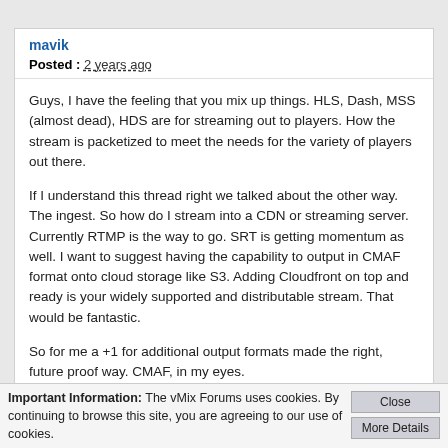mavik
Posted : 2 years ago
Guys, I have the feeling that you mix up things. HLS, Dash, MSS (almost dead), HDS are for streaming out to players. How the stream is packetized to meet the needs for the variety of players out there.
If I understand this thread right we talked about the other way. The ingest. So how do I stream into a CDN or streaming server. Currently RTMP is the way to go. SRT is getting momentum as well. I want to suggest having the capability to output in CMAF format onto cloud storage like S3. Adding Cloudfront on top and ready is your widely supported and distributable stream. That would be fantastic.
So for me a +1 for additional output formats made the right, future proof way. CMAF, in my eyes.
Speegs
Posted : 2 years ago
Important Information: The vMix Forums uses cookies. By continuing to browse this site, you are agreeing to our use of cookies.